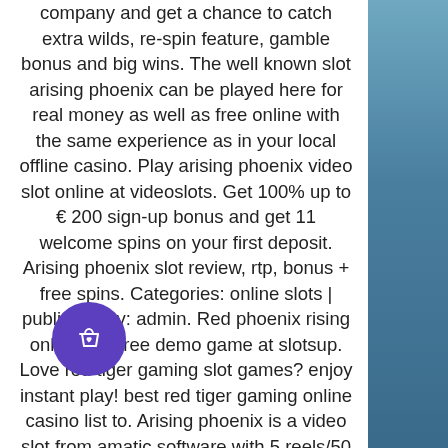company and get a chance to catch extra wilds, re-spin feature, gamble bonus and big wins. The well known slot arising phoenix can be played here for real money as well as free online with the same experience as in your local offline casino. Play arising phoenix video slot online at videoslots. Get 100% up to € 200 sign-up bonus and get 11 welcome spins on your first deposit. Arising phoenix slot review, rtp, bonus + free spins. Categories: online slots | published by: admin. Red phoenix rising online slot free demo game at slotsup. Love red tiger gaming slot games? enjoy instant play! best red tiger gaming online casino list to. Arising phoenix is a video slot from amatic software with 5 reels/50 paylines. Read arising phoenix slot review developed by amatic industries or play this slot demo for free rigt now! just click the site! The game carries a far east theme,. Play arising phoenix slot
[Figure (illustration): Purple circular shopping bag button icon with a heart, positioned in lower left area]